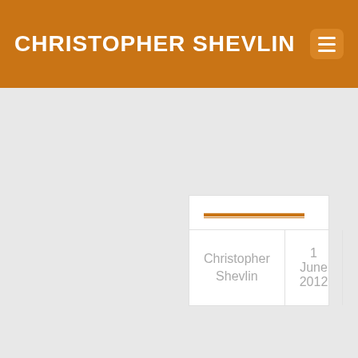CHRISTOPHER SHEVLIN
| Christopher
Shevlin | 1 June 2012 | Categories ↓ |
8. Adapting your InDesign files for the Kindle